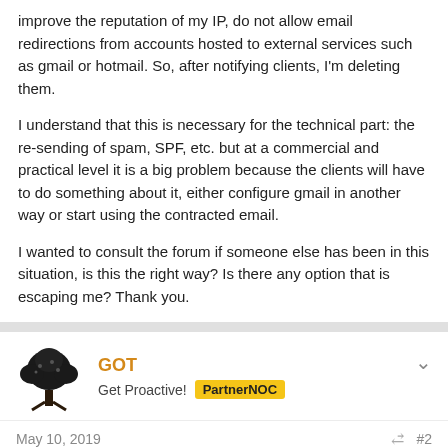improve the reputation of my IP, do not allow email redirections from accounts hosted to external services such as gmail or hotmail. So, after notifying clients, I'm deleting them.
I understand that this is necessary for the technical part: the re-sending of spam, SPF, etc. but at a commercial and practical level it is a big problem because the clients will have to do something about it, either configure gmail in another way or start using the contracted email.
I wanted to consult the forum if someone else has been in this situation, is this the right way? Is there any option that is escaping me? Thank you.
GOT
Get Proactive! PartnerNOC
May 10, 2019 #2
What we recommend is a combination of a good inbound filter and a good outbound filter. The inbound filter will block more incoming spam than just SpamAssassin and the outbound filter